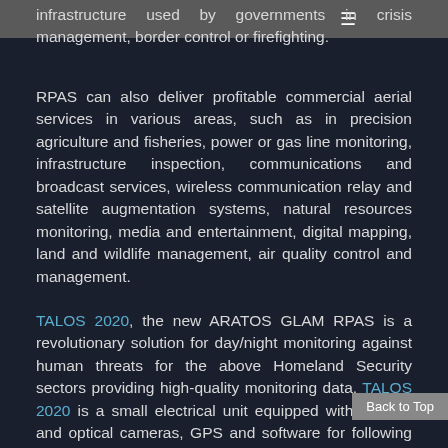infrastructure used by governments in crisis management, border control or firefighting.
RPAS can also deliver profitable commercial aerial services in various areas, such as in precision agriculture and fisheries, power or gas line monitoring, infrastructure inspection, communications and broadcast services, wireless communication relay and satellite augmentation systems, natural resources monitoring, media and entertainment, digital mapping, land and wildlife management, air quality control and management.
TALOS 2020, the new ARATOS GLAM RPAS is a revolutionary solution for day/night monitoring against human threats for the above Homeland Security sectors providing high-quality monitoring data. TALOS 2020 is a small electrical unit equipped with thermal and optical cameras, GPS and software for following up to 200 pre-